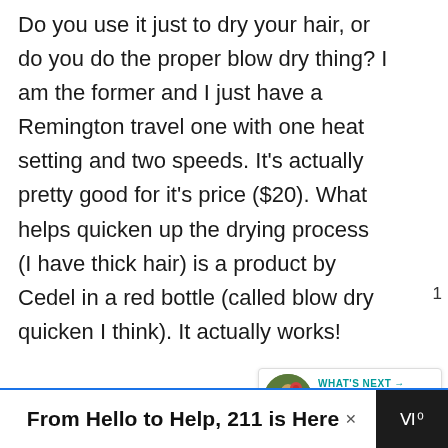Do you use it just to dry your hair, or do you do the proper blow dry thing? I am the former and I just have a Remington travel one with one heat setting and two speeds. It's actually pretty good for it's price ($20). What helps quicken up the drying process (I have thick hair) is a product by Cedel in a red bottle (called blow dry quicken I think). It actually works!

Something you could consider is just getting a cheap hair dryer and an expensive hair straightener. I have a ghd Eclipse and it's amazing.
[Figure (screenshot): UI overlay: heart/like button showing count of 1, share button, and a 'What's Next' card showing 'Life Since Thanksgivin...' with a thumbnail]
[Figure (screenshot): Ad banner: 'From Hello to Help, 211 is Here' with close button and dark icons panel on right]